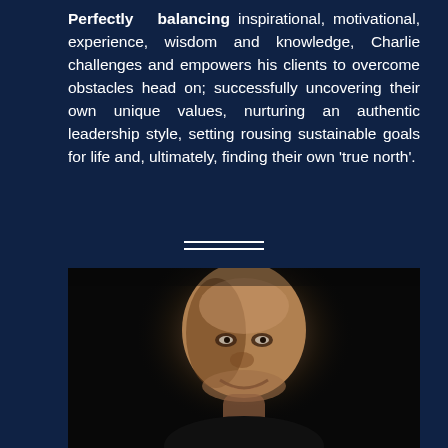Perfectly balancing inspirational, motivational, experience, wisdom and knowledge, Charlie challenges and empowers his clients to overcome obstacles head on; successfully uncovering their own unique values, nurturing an authentic leadership style, setting rousing sustainable goals for life and, ultimately, finding their own 'true north'.
[Figure (photo): Portrait photograph of a bald man smiling, lit dramatically against a dark background, showing his face and upper body.]